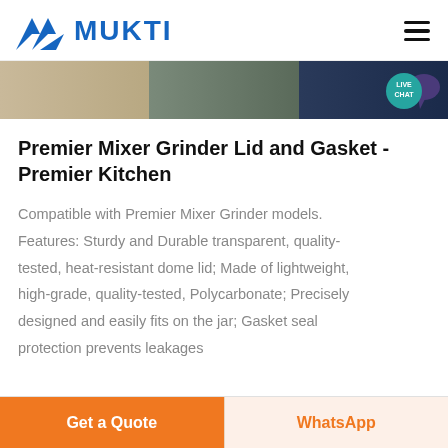MUKTI
[Figure (screenshot): Banner image showing three segments: sandy/stone texture, dark green/gray stone, and dark blue/navy]
Premier Mixer Grinder Lid and Gasket - Premier Kitchen
Compatible with Premier Mixer Grinder models. Features: Sturdy and Durable transparent, quality-tested, heat-resistant dome lid; Made of lightweight, high-grade, quality-tested, Polycarbonate; Precisely designed and easily fits on the jar; Gasket seal protection prevents leakages
Get a Quote
WhatsApp